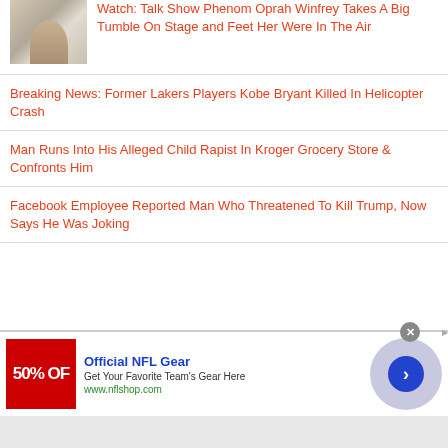Watch: Talk Show Phenom Oprah Winfrey Takes A Big Tumble On Stage and Feet Her Were In The Air
Breaking News: Former Lakers Players Kobe Bryant Killed In Helicopter Crash
Man Runs Into His Alleged Child Rapist In Kroger Grocery Store & Confronts Him
Facebook Employee Reported Man Who Threatened To Kill Trump, Now Says He Was Joking
[Figure (infographic): NFL Shop advertisement: Official NFL Gear, 50% OFF red banner, Get Your Favorite Team's Gear Here, www.nflshop.com, with blue arrow button]